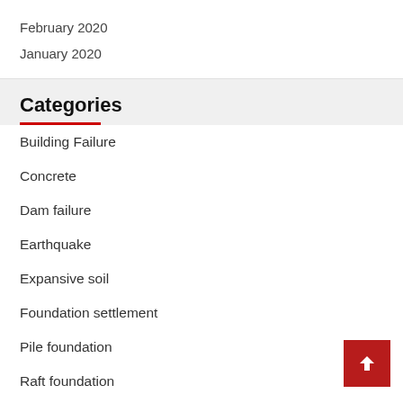February 2020
January 2020
Categories
Building Failure
Concrete
Dam failure
Earthquake
Expansive soil
Foundation settlement
Pile foundation
Raft foundation